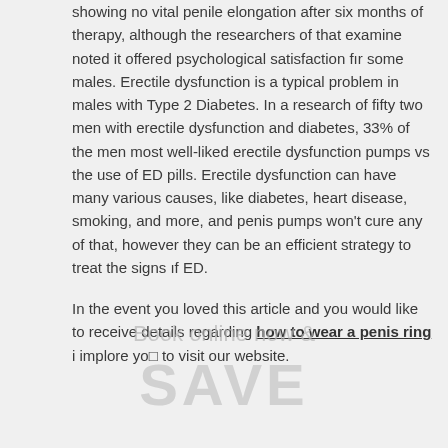showing no vital penile elongation after six months of therapy, although the researchers of that examine noted it offered psychological satisfaction for some males. Erectile dysfunction is a typical problem in males with Type 2 Diabetes. In a research of fifty two men with erectile dysfunction and diabetes, 33% of the men most well-liked erectile dysfunction pumps vs the use of ED pills. Erectile dysfunction can have many various causes, like diabetes, heart disease, smoking, and more, and penis pumps won't cure any of that, however they can be an efficient strategy to treat the signs of ED.
In the event you loved this article and you would like to receive details regarding how to wear a penis ring i implore you to visit our website.
[Figure (other): Watermark overlay text reading 'Book online now &' and 'SAVE' in large bold letters]